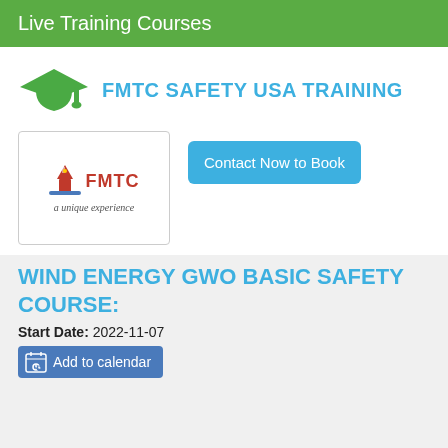Live Training Courses
FMTC SAFETY USA TRAINING
[Figure (logo): FMTC logo with red bolt/tower icon and text 'FMTC a unique experience']
Contact Now to Book
WIND ENERGY GWO BASIC SAFETY COURSE:
Start Date: 2022-11-07
Add to calendar